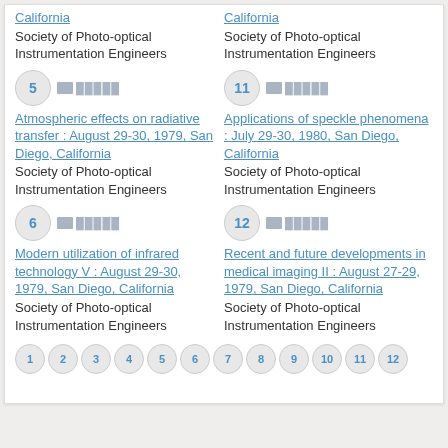California
Society of Photo-optical Instrumentation Engineers
California
Society of Photo-optical Instrumentation Engineers
5
11
Atmospheric effects on radiative transfer : August 29-30, 1979, San Diego, California
Society of Photo-optical Instrumentation Engineers
Applications of speckle phenomena : July 29-30, 1980, San Diego, California
Society of Photo-optical Instrumentation Engineers
6
12
Modern utilization of infrared technology V : August 29-30, 1979, San Diego, California
Society of Photo-optical Instrumentation Engineers
Recent and future developments in medical imaging II : August 27-29, 1979, San Diego, California
Society of Photo-optical Instrumentation Engineers
1 2 3 4 5 6 7 8 9 10 11 12